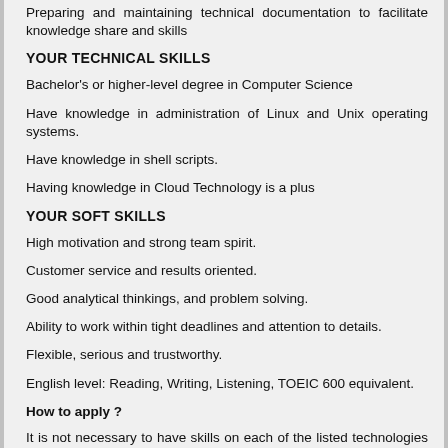Preparing and maintaining technical documentation to facilitate knowledge share and skills
YOUR TECHNICAL SKILLS
Bachelor's or higher-level degree in Computer Science
Have knowledge in administration of Linux and Unix operating systems.
Have knowledge in shell scripts.
Having knowledge in Cloud Technology is a plus
YOUR SOFT SKILLS
High motivation and strong team spirit.
Customer service and results oriented.
Good analytical thinkings, and problem solving.
Ability to work within tight deadlines and attention to details.
Flexible, serious and trustworthy.
English level: Reading, Writing, Listening, TOEIC 600 equivalent.
How to apply ?
It is not necessary to have skills on each of the listed technologies to